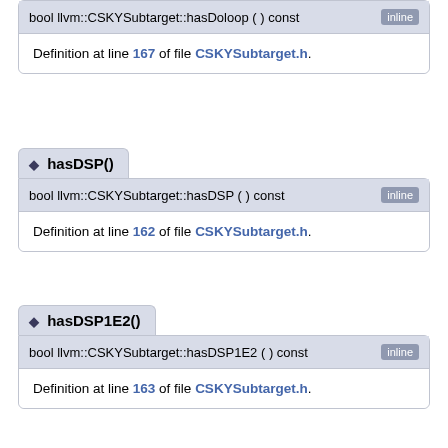bool llvm::CSKYSubtarget::hasDoloop ( ) const [inline]
Definition at line 167 of file CSKYSubtarget.h.
hasDSP()
bool llvm::CSKYSubtarget::hasDSP ( ) const [inline]
Definition at line 162 of file CSKYSubtarget.h.
hasDSP1E2()
bool llvm::CSKYSubtarget::hasDSP1E2 ( ) const [inline]
Definition at line 163 of file CSKYSubtarget.h.